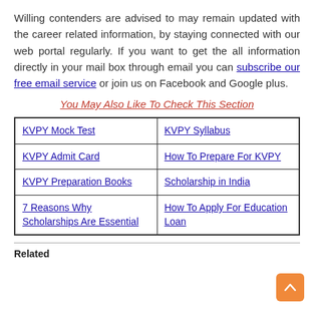Willing contenders are advised to may remain updated with the career related information, by staying connected with our web portal regularly. If you want to get the all information directly in your mail box through email you can subscribe our free email service or join us on Facebook and Google plus.
You May Also Like To Check This Section
| KVPY Mock Test | KVPY Syllabus |
| KVPY Admit Card | How To Prepare For KVPY |
| KVPY Preparation Books | Scholarship in India |
| 7 Reasons Why Scholarships Are Essential | How To Apply For Education Loan |
Related